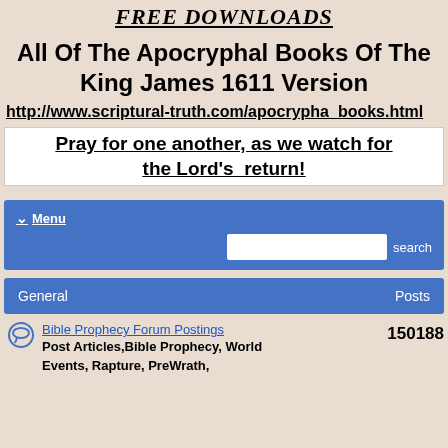FREE DOWNLOADS
All Of The Apocryphal Books Of The King James 1611 Version
http://www.scriptural-truth.com/apocrypha_books.html
Pray for one another, as we watch for the Lord's  return!
Menu
search
General   Posts
Bible Prophecy Forum Postings   150188
Post Articles,Bible Prophecy, World Events, Rapture, PreWrath,